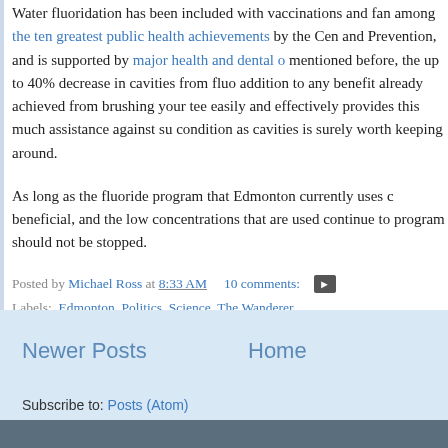Water fluoridation has been included with vaccinations and fan among the ten greatest public health achievements by the Centers for Disease Control and Prevention, and is supported by major health and dental organizations. As mentioned before, the up to 40% decrease in cavities from fluoride is in addition to any benefit already achieved from brushing your teeth. Something that easily and effectively provides this much assistance against such a common condition as cavities is surely worth keeping around.
As long as the fluoride program that Edmonton currently uses continues to be beneficial, and the low concentrations that are used continue to be safe, the program should not be stopped.
Posted by Michael Ross at 8:33 AM   10 comments:
Labels: Edmonton, Politics, Science, The Wanderer
Newer Posts
Home
Subscribe to: Posts (Atom)